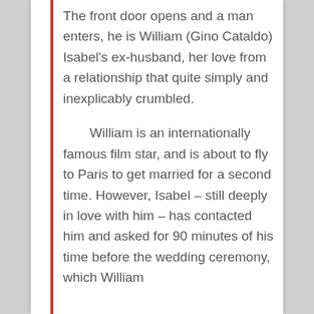The front door opens and a man enters, he is William (Gino Cataldo) Isabel's ex-husband, her love from a relationship that quite simply and inexplicably crumbled.
William is an internationally famous film star, and is about to fly to Paris to get married for a second time. However, Isabel – still deeply in love with him – has contacted him and asked for 90 minutes of his time before the wedding ceremony, which William